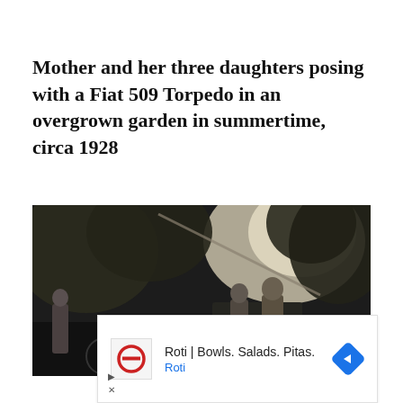Mother and her three daughters posing with a Fiat 509 Torpedo in an overgrown garden in summertime, circa 1928
[Figure (photo): Black and white photograph showing a mother and her three daughters posing with a Fiat 509 Torpedo automobile in an overgrown garden setting, circa 1928. Trees visible in background, bright sky, figures standing around the open-top car.]
[Figure (other): Advertisement for Roti restaurant: 'Roti | Bowls. Salads. Pitas.' with Roti logo (red circle with horizontal bar) and a blue diamond-shaped navigation icon. Play and close controls visible at bottom left.]